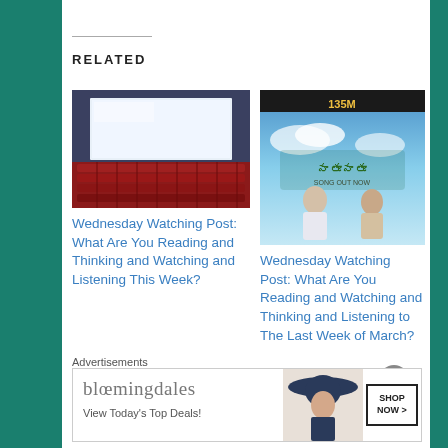RELATED
[Figure (photo): Cinema/movie theater interior with red seats and bright white screen]
Wednesday Watching Post: What Are You Reading and Thinking and Watching and Listening This Week?
October 3, 2018
In "Wednesday Watching"
[Figure (photo): Movie promotional image with text '135M' and Telugu movie title 'Naatu Naatu', two men standing back to back, 'Song Out Now' text]
Wednesday Watching Post: What Are You Reading and Watching and Thinking and Listening to The Last Week of March?
Advertisements
[Figure (photo): Bloomingdales advertisement banner: 'View Today's Top Deals!' with woman in wide-brim hat and 'SHOP NOW >' button]